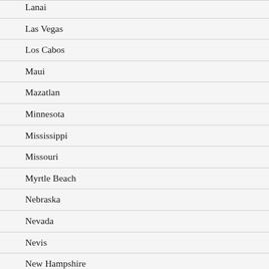Lanai
Las Vegas
Los Cabos
Maui
Mazatlan
Minnesota
Mississippi
Missouri
Myrtle Beach
Nebraska
Nevada
Nevis
New Hampshire